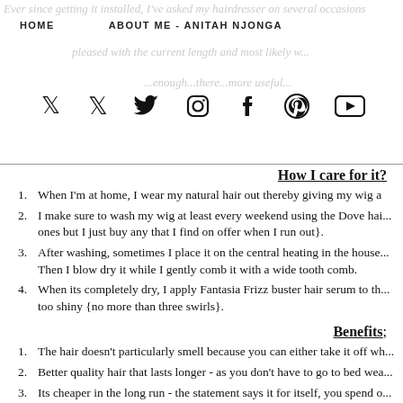HOME    ABOUT ME - ANITAH NJONGA
Ever since getting it installed, I've asked my hairdresser on several occasions...
pleased with the current length and most likely w...
...enough...there...more useful...
[Figure (other): Social media icons: Twitter, Instagram, Facebook, Pinterest, YouTube]
How I care for it?
When I'm at home, I wear my natural hair out thereby giving my wig a...
I make sure to wash my wig at least every weekend using the Dove hai... ones but I just buy any that I find on offer when I run out}.
After washing, sometimes I place it on the central heating in the house... Then I blow dry it while I gently comb it with a wide tooth comb.
When its completely dry, I apply Fantasia Frizz buster hair serum to th... too shiny {no more than three swirls}.
Benefits;
The hair doesn't particularly smell because you can either take it off wh...
Better quality hair that lasts longer - as you don't have to go to bed wea...
Its cheaper in the long run - the statement says it for itself, you spend o...
Best of them all, you allow time for your natural hair to grow and can o...